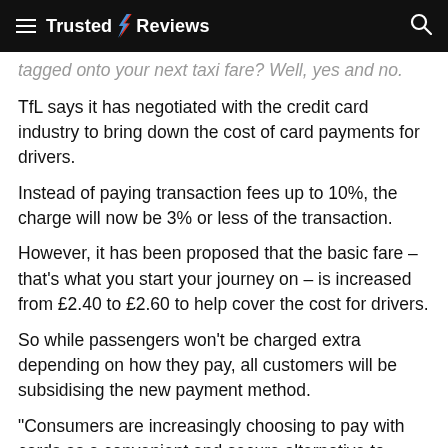Trusted Reviews
tagged onto your next taxi fare? Well, yes and no.
TfL says it has negotiated with the credit card industry to bring down the cost of card payments for drivers.
Instead of paying transaction fees up to 10%, the charge will now be 3% or less of the transaction.
However, it has been proposed that the basic fare – that's what you start your journey on – is increased from £2.40 to £2.60 to help cover the cost for drivers.
So while passengers won't be charged extra depending on how they pay, all customers will be subsidising the new payment method.
“Consumers are increasingly choosing to pay with cards as a convenient and secure alternative to cash,” explains Richard Koch, Head of Policy at The UK Cards